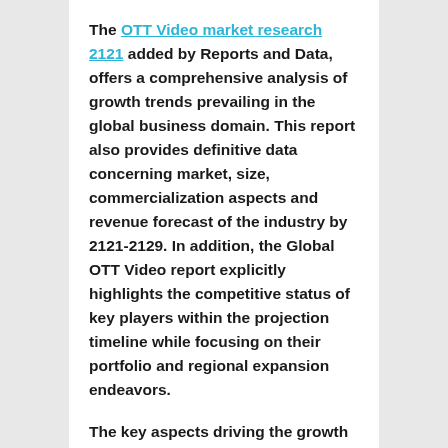The OTT Video market research 2121 added by Reports and Data, offers a comprehensive analysis of growth trends prevailing in the global business domain. This report also provides definitive data concerning market, size, commercialization aspects and revenue forecast of the industry by 2121-2129. In addition, the Global OTT Video report explicitly highlights the competitive status of key players within the projection timeline while focusing on their portfolio and regional expansion endeavors.
The key aspects driving the growth of the market include well-established and emerging regions, latest